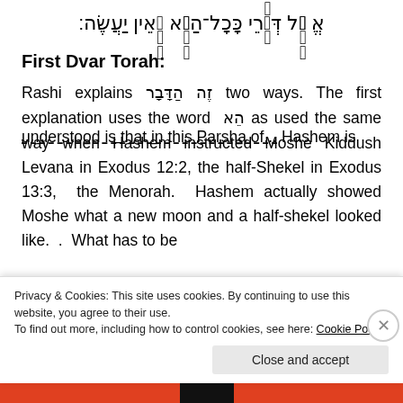אֱלֹהִים מֵאֵין כָּל־הַיְּקוּם אֱלֶּה דְּבַרֵי אֵלֶּה:
First Dvar Torah:
Rashi explains זֶה הַדָּבָר two ways.  The first explanation uses the word   הֵא as used the same way when Hashem instructed Moshe Kiddush Levana in Exodus 12:2, the half-Shekel in Exodus 13:3,  the Menorah.  Hashem actually showed Moshe what a new moon and a half-shekel looked like.  .  What has to be understood is that in this Parsha of...  Hashem is
Privacy & Cookies: This site uses cookies. By continuing to use this website, you agree to their use.
To find out more, including how to control cookies, see here: Cookie Policy
Close and accept